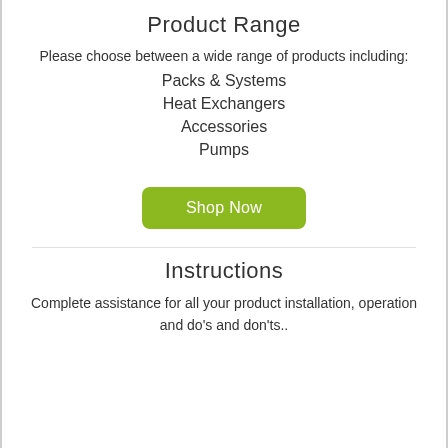Product Range
Please choose between a wide range of products including:
Packs & Systems
Heat Exchangers
Accessories
Pumps
[Figure (other): Green 'Shop Now' button]
Instructions
Complete assistance for all your product installation, operation and do's and don'ts..